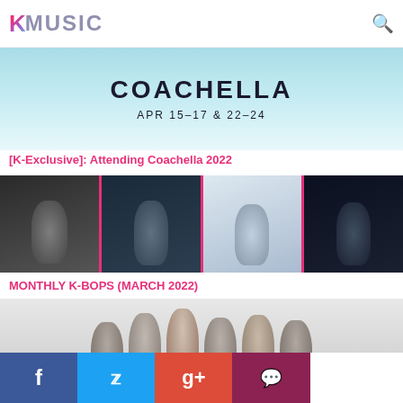KMUSIC
[Figure (photo): Coachella 2022 banner with teal/mint background showing COACHELLA text and dates APR 15-17 & 22-24]
[K-Exclusive]: Attending Coachella 2022
[Figure (photo): Four K-pop artist panels separated by hot pink borders: a female artist in black and white, a male artist in military-style uniform, a male artist in light blue/white, and a male artist in dark moody lighting]
MONTHLY K-BOPS (MARCH 2022)
[Figure (photo): Group photo of K-pop artists in black outfits against white/grey background]
f  Twitter  g+  Chat